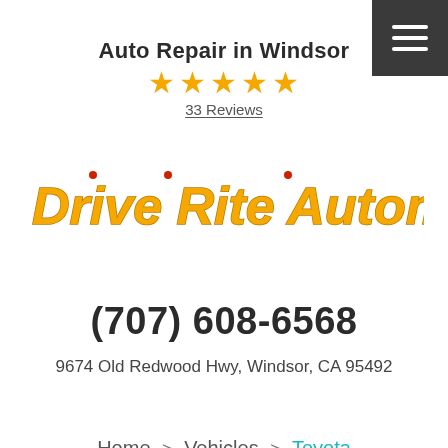Auto Repair in Windsor
[Figure (other): Five gold star rating icons]
33 Reviews
[Figure (logo): Drive Rite Automotive logo in bold italic yellow/gold text with small red dots above certain letters]
(707) 608-6568
9674 Old Redwood Hwy, Windsor, CA 95492
Home > Vehicles > Toyota
[Figure (other): Hamburger menu icon in dark gray square in top right corner]